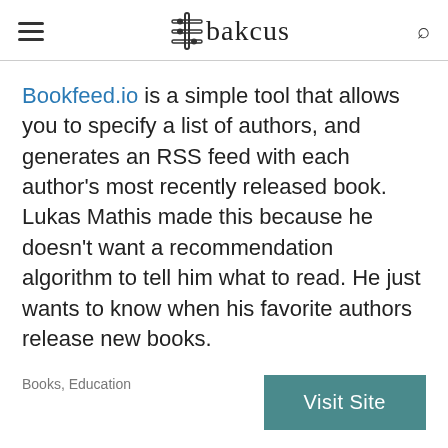≡ Abakcus 🔍
Bookfeed.io is a simple tool that allows you to specify a list of authors, and generates an RSS feed with each author's most recently released book. Lukas Mathis made this because he doesn't want a recommendation algorithm to tell him what to read. He just wants to know when his favorite authors release new books.
Books, Education
Visit Site